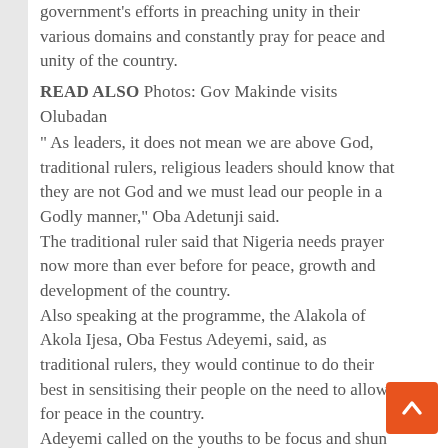government's efforts in preaching unity in their various domains and constantly pray for peace and unity of the country.
READ ALSO  Photos: Gov Makinde visits Olubadan
" As leaders, it does not mean we are above God, traditional rulers, religious leaders should know that they are not God and we must lead our people in a Godly manner," Oba Adetunji said.
The traditional ruler said that Nigeria needs prayer now more than ever before for peace, growth and development of the country.
Also speaking at the programme, the Alakola of Akola Ijesa, Oba Festus Adeyemi, said, as traditional rulers, they would continue to do their best in sensitising their people on the need to allow for peace in the country.
Adeyemi called on the youths to be focus and shun acts that would jeopardise the existing unity in the country.